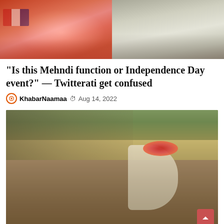[Figure (photo): Two photos side by side at top: left shows a close-up of colorful mehndi/henna decorated hands with orange and pink flowers, right shows people in white clothes at what appears to be an event]
“Is this Mehndi function or Independence Day event?” — Twitterati get confused
KhabarNaamaa © Aug 14, 2022
[Figure (photo): A decorated cow with colorful flower garlands and ornaments being held by people, with a large crowd gathered in the background in an outdoor setting]